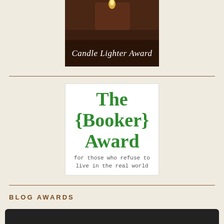[Figure (photo): Candle Lighter Award image — dark brown candle/chocolate background with italic white script text reading 'Candle Lighter Award']
[Figure (logo): The {Booker} Award logo — white box with large bold green text 'The {Booker} Award' and smaller monospace subtitle 'for those who refuse to live in the real world']
BLOG AWARDS
[Figure (photo): Partial dark/black rounded rectangle bar at the bottom of the page — beginning of another award image]